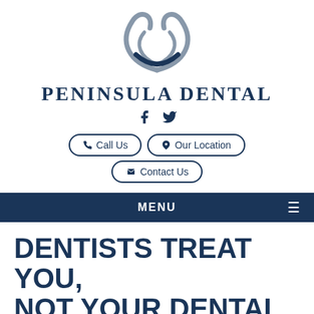[Figure (logo): Peninsula Dental logo — abstract tooth/smile arc shape in gray-blue above the brand name]
PENINSULA DENTAL
[Figure (illustration): Facebook and Twitter social media icons]
Call Us | Our Location | Contact Us
MENU
DENTISTS TREAT YOU, NOT YOUR DENTAL PLAN